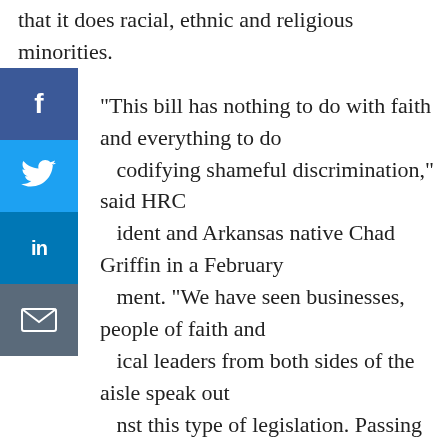that it does racial, ethnic and religious minorities.
"This bill has nothing to do with faith and everything to do codifying shameful discrimination," said HRC ident and Arkansas native Chad Griffin in a February ment. "We have seen businesses, people of faith and ical leaders from both sides of the aisle speak out nst this type of legislation. Passing this bill would not only place Mississippi firmly on the wrong side of history, it would hurt the state's economy and tarnish its reputation."
Despite the bill's vagueness and uncertainty, or perhaps because of it, the Human Rights Campaign and others who opposed the bill are using the momentum and fears caused by 2681 to amp up the movement for LGBTQ rights in